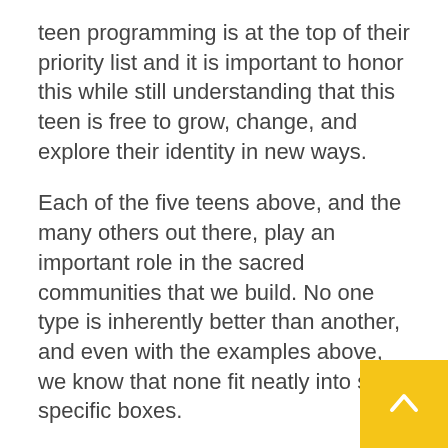teen programming is at the top of their priority list and it is important to honor this while still understanding that this teen is free to grow, change, and explore their identity in new ways.
Each of the five teens above, and the many others out there, play an important role in the sacred communities that we build. No one type is inherently better than another, and even with the examples above, we know that none fit neatly into such specific boxes.
What is beautiful to me about Jewish teen programming and engagement is that there is choice involved. Teens are there because they want to be there. In a world where teenagers face so much pressure and feel like they h…